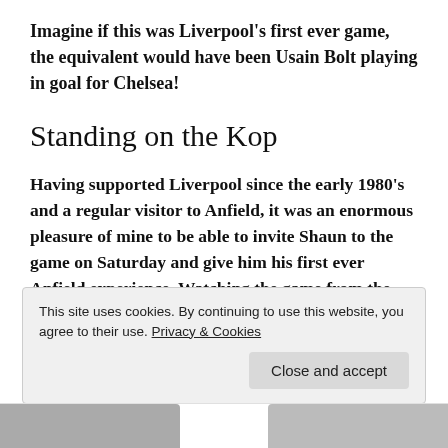Imagine if this was Liverpool's first ever game, the equivalent would have been Usain Bolt playing in goal for Chelsea!
Standing on the Kop
Having supported Liverpool since the early 1980's and a regular visitor to Anfield, it was an enormous pleasure of mine to be able to invite Shaun to the game on Saturday and give him his first ever Anfield experience. Watching the game from the Kop in our Arthur Wharton Foundation t-shirts, was a very
This site uses cookies. By continuing to use this website, you agree to their use. Privacy & Cookies
Close and accept